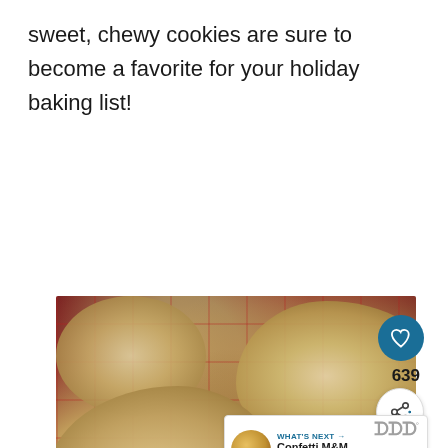sweet, chewy cookies are sure to become a favorite for your holiday baking list!
[Figure (photo): Close-up photo of M&M cookies on a red plaid background/cooling rack, with green and red M&M candies visible. A social media UI overlay shows a heart button, share button, count of 639, and a 'What's Next' card for 'Confetti M&M Cookies (Wit...']